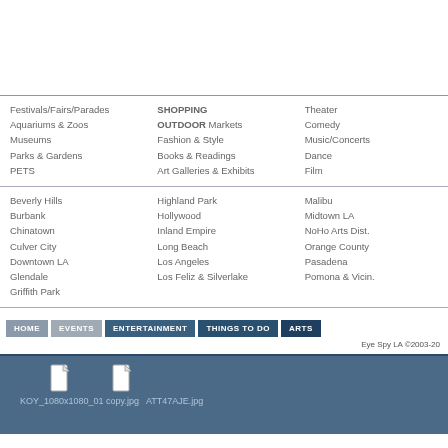Festivals/Fairs/Parades
Aquariums & Zoos
Museums
Parks & Gardens
PETS
SHOPPING
OUTDOOR Markets
Fashion & Style
Books & Readings
Art Galleries & Exhibits
Theater
Comedy
Music/Concerts
Dance
Film
Beverly Hills
Burbank
Chinatown
Culver City
Downtown LA
Glendale
Griffith Park
Highland Park
Hollywood
Inland Empire
Long Beach
Los Angeles
Los Feliz & Silverlake
Malibu
Midtown LA
NoHo Arts Dist.
Orange County
Pasadena
Pomona & Vicin.
HOME  EVENTS  ENTERTAINMENT  THINGS TO DO  ARTS
Eye Spy LA ©2003-20
[Figure (screenshot): File icons and filenames for KOY_1080x1080_01 copy.jpg and ATT47AJE.jpg on a blue background]